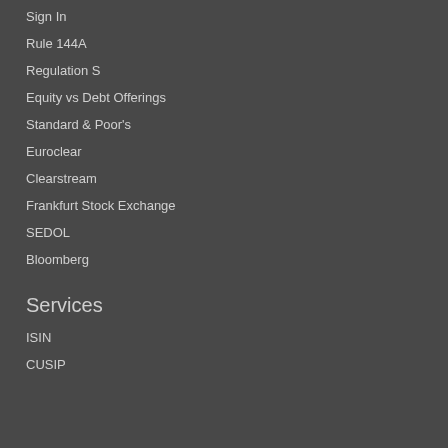Sign In
Rule 144A
Regulation S
Equity vs Debt Offerings
Standard & Poor's
Euroclear
Clearstream
Frankfurt Stock Exchange
SEDOL
Bloomberg
Services
ISIN
CUSIP